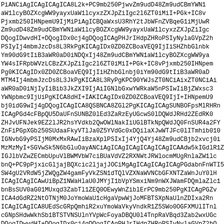PiANCiAgICAgICAgICA8L2k+PC9mb250PjwvZm9udD48Zm9udCBmYWN1aW1lcyBOZXcgWW9yayxUaW1lcyxzZXJpZiIgc2l6ZT0iMiI+PGk+IC8vUGpBTkNpQWdJQ0FnSUNBZ0lDQThMM...